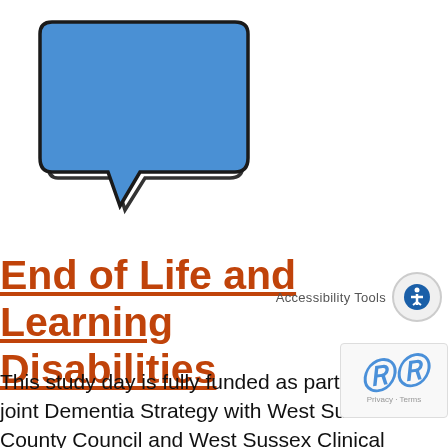[Figure (illustration): Blue speech bubble illustration with dark outline on white background]
End of Life and Learning Disabilities
This study day is fully funded as part of the joint Dementia Strategy with West Sussex County Council and West Sussex Clinical Commissioning Group. Dates: 14th September 09.15 – 14.15 10th January 2023 09.15 – 14.15 Price: Free work in West Sussex or £80 (both to include...